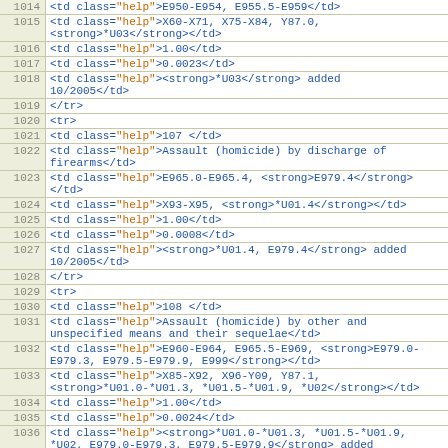[Figure (screenshot): Source code viewer showing HTML/XML code lines numbered 1014-1037, with line numbers in beige column on left and code in blue/orange on right. Content shows HTML table cell elements with medical coding data.]